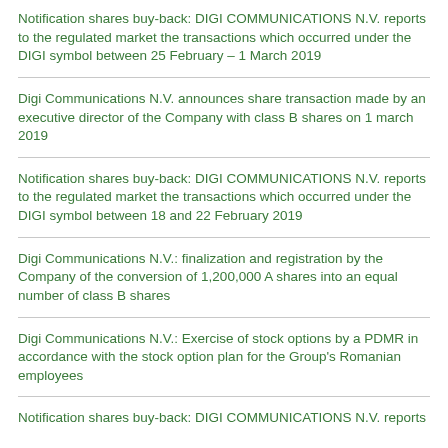Notification shares buy-back: DIGI COMMUNICATIONS N.V. reports to the regulated market the transactions which occurred under the DIGI symbol between 25 February – 1 March 2019
Digi Communications N.V. announces share transaction made by an executive director of the Company with class B shares on 1 march 2019
Notification shares buy-back: DIGI COMMUNICATIONS N.V. reports to the regulated market the transactions which occurred under the DIGI symbol between 18 and 22 February 2019
Digi Communications N.V.: finalization and registration by the Company of the conversion of 1,200,000 A shares into an equal number of class B shares
Digi Communications N.V.: Exercise of stock options by a PDMR in accordance with the stock option plan for the Group's Romanian employees
Notification shares buy-back: DIGI COMMUNICATIONS N.V. reports